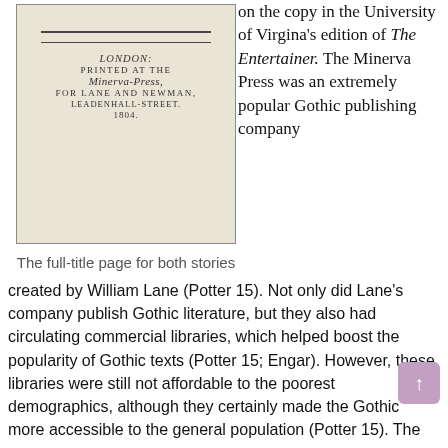[Figure (photo): Photograph of a book title page showing: LONDON: PRINTED AT THE Minerva-Press, FOR LANE AND NEWMAN, LEADENHALL-STREET. 1804.]
The full-title page for both stories
on the copy in the University of Virgina's edition of The Entertainer. The Minerva Press was an extremely popular Gothic publishing company created by William Lane (Potter 15). Not only did Lane's company publish Gothic literature, but they also had circulating commercial libraries, which helped boost the popularity of Gothic texts (Potter 15; Engar). However, these libraries were still not affordable to the poorest demographics, although they certainly made the Gothic more accessible to the general population (Potter 15). The
created by William Lane (Potter 15). Not only did Lane's company publish Gothic literature, but they also had circulating commercial libraries, which helped boost the popularity of Gothic texts (Potter 15; Engar). However, these libraries were still not affordable to the poorest demographics, although they certainly made the Gothic more accessible to the general population (Potter 15). The